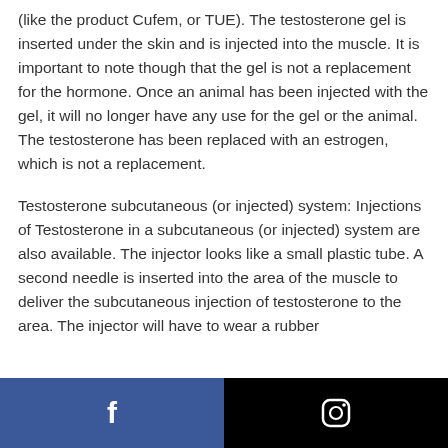(like the product Cufem, or TUE). The testosterone gel is inserted under the skin and is injected into the muscle. It is important to note though that the gel is not a replacement for the hormone. Once an animal has been injected with the gel, it will no longer have any use for the gel or the animal. The testosterone has been replaced with an estrogen, which is not a replacement.
Testosterone subcutaneous (or injected) system: Injections of Testosterone in a subcutaneous (or injected) system are also available. The injector looks like a small plastic tube. A second needle is inserted into the area of the muscle to deliver the subcutaneous injection of testosterone to the area. The injector will have to wear a rubber
[Figure (other): Footer bar with Facebook icon (blue background, left) and Instagram icon (black background, right)]